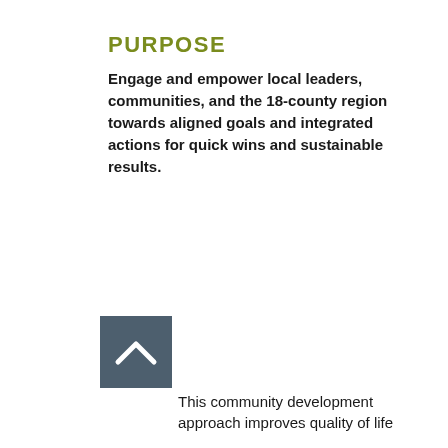PURPOSE
Engage and empower local leaders, communities, and the 18-county region towards aligned goals and integrated actions for quick wins and sustainable results.
[Figure (illustration): A dark grey square icon with a white caret/chevron (upward-pointing arrow) symbol]
This community development approach improves quality of life